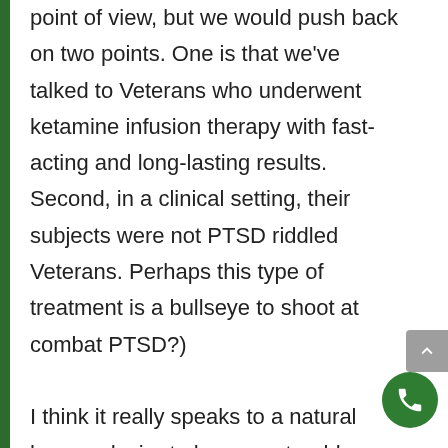point of view, but we would push back on two points. One is that we've talked to Veterans who underwent ketamine infusion therapy with fast-acting and long-lasting results. Second, in a clinical setting, their subjects were not PTSD riddled Veterans. Perhaps this type of treatment is a bullseye to shoot at combat PTSD?)

I think it really speaks to a natural human desire to have our troubles whisked away without